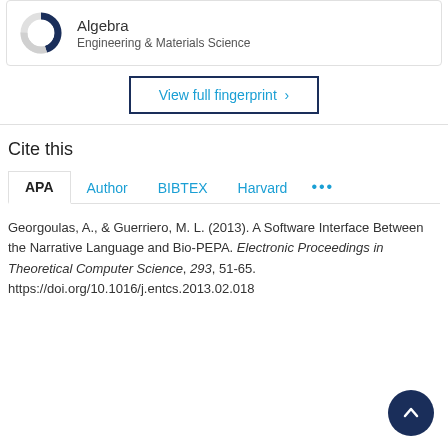[Figure (donut-chart): Donut chart for Algebra, Engineering & Materials Science category, partially filled in dark blue]
Algebra
Engineering & Materials Science
View full fingerprint >
Cite this
APA   Author   BIBTEX   Harvard   ...
Georgoulas, A., & Guerriero, M. L. (2013). A Software Interface Between the Narrative Language and Bio-PEPA. Electronic Proceedings in Theoretical Computer Science, 293, 51-65. https://doi.org/10.1016/j.entcs.2013.02.018